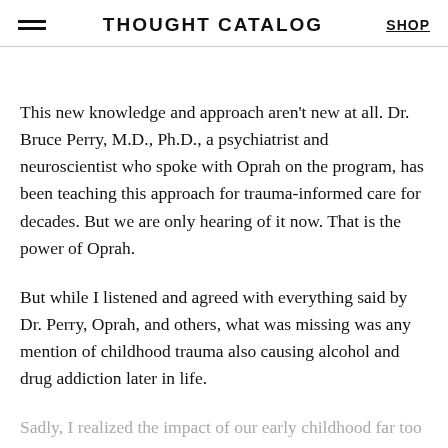THOUGHT CATALOG
This new knowledge and approach aren't new at all. Dr. Bruce Perry, M.D., Ph.D., a psychiatrist and neuroscientist who spoke with Oprah on the program, has been teaching this approach for trauma-informed care for decades. But we are only hearing of it now. That is the power of Oprah.
But while I listened and agreed with everything said by Dr. Perry, Oprah, and others, what was missing was any mention of childhood trauma also causing alcohol and drug addiction later in life.
Sadly, I realized the impact of our early childhood far too late. My own brother became another one of the many